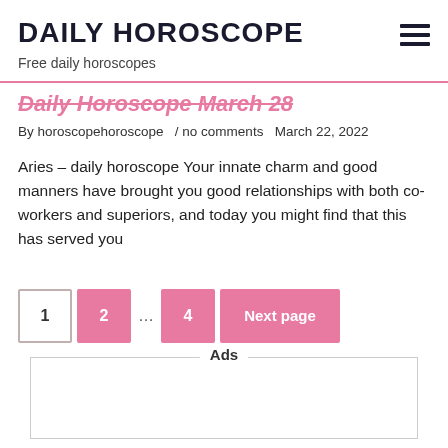DAILY HOROSCOPE
Free daily horoscopes
Daily Horoscope March 28
By horoscopehoroscope / no comments  March 22, 2022
Aries – daily horoscope Your innate charm and good manners have brought you good relationships with both co-workers and superiors, and today you might find that this has served you
1 2 … 4 Next page
Ads